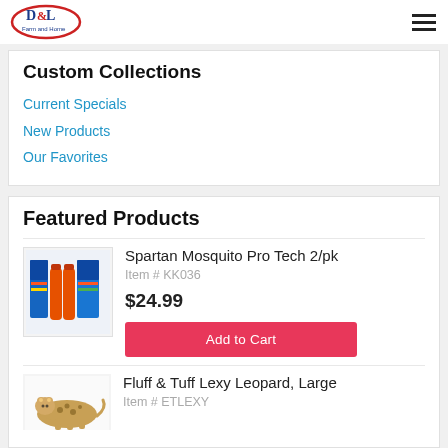D&L Farm and Home
Custom Collections
Current Specials
New Products
Our Favorites
Featured Products
[Figure (photo): Spartan Mosquito Pro Tech 2/pk product image showing two spray canisters with packaging]
Spartan Mosquito Pro Tech 2/pk
Item # KK036
$24.99
Add to Cart
[Figure (photo): Fluff & Tuff Lexy Leopard, Large product image showing a leopard plush toy]
Fluff & Tuff Lexy Leopard, Large
Item # ETLEXY